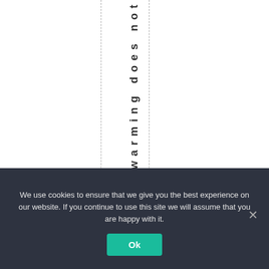thatwarming does not
We use cookies to ensure that we give you the best experience on our website. If you continue to use this site we will assume that you are happy with it.